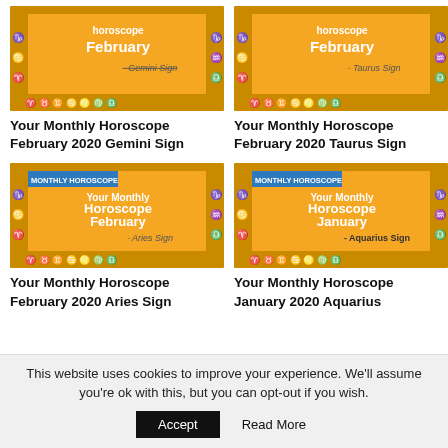[Figure (illustration): Thumbnail image for monthly horoscope February 2020 Gemini Sign - orange background with zodiac symbols and text 'Your Monthly Horoscope February - Gemini Sign']
Your Monthly Horoscope February 2020 Gemini Sign
[Figure (illustration): Thumbnail image for monthly horoscope February 2020 Taurus Sign - orange background with zodiac symbols and text 'Your Monthly Horoscope February - Taurus Sign']
Your Monthly Horoscope February 2020 Taurus Sign
[Figure (illustration): Thumbnail image for monthly horoscope February 2020 Aries Sign - orange background with zodiac symbols, MONTHLY HOROSCOPE badge, and text 'Your Monthly Horoscope February - Aries Sign']
Your Monthly Horoscope February 2020 Aries Sign
[Figure (illustration): Thumbnail image for monthly horoscope January 2020 Aquarius Sign - orange background with zodiac symbols, MONTHLY HOROSCOPE badge, and text 'Your Monthly Horoscope January - Aquarius Sign']
Your Monthly Horoscope January 2020 Aquarius
This website uses cookies to improve your experience. We'll assume you're ok with this, but you can opt-out if you wish.